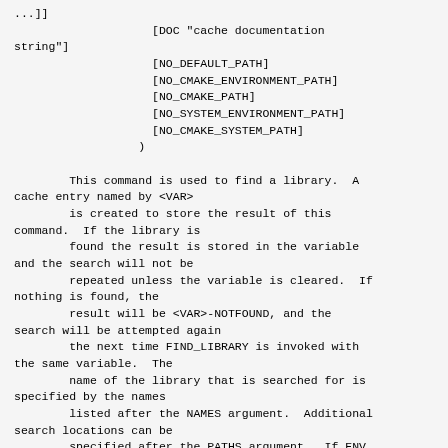...]]
                    [DOC "cache documentation
string"]
                    [NO_DEFAULT_PATH]
                    [NO_CMAKE_ENVIRONMENT_PATH]
                    [NO_CMAKE_PATH]
                    [NO_SYSTEM_ENVIRONMENT_PATH]
                    [NO_CMAKE_SYSTEM_PATH]
                  )

        This command is used to find a library.  A
cache entry named by <VAR>
        is created to store the result of this
command.  If the library is
        found the result is stored in the variable
and the search will not be
        repeated unless the variable is cleared.  If
nothing is found, the
        result will be <VAR>-NOTFOUND, and the
search will be attempted again
        the next time FIND_LIBRARY is invoked with
the same variable.  The
        name of the library that is searched for is
specified by the names
        listed after the NAMES argument.  Additional
search locations can be
        specified after the PATHS argument.  If ENV
var is found in the PATHS
        section the environment variable var will be
read and converted from a
        system environment variable to a cmake style
list of paths.  For
        example ENV_PATH would be a way to list the